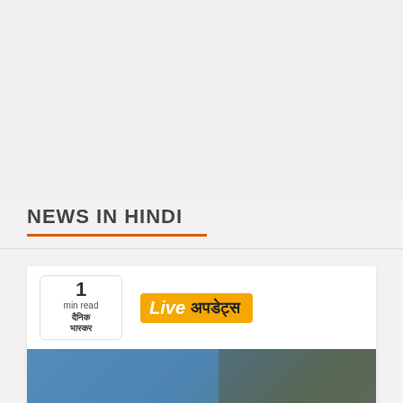[Figure (other): Gray background area at top of page, representing an advertisement or blank space placeholder]
NEWS IN HINDI
[Figure (photo): News card from Dainik Bhaskar showing a '1 min read' label and 'Live अपडेट्स' (Live Updates) badge, with a photograph below showing a patient in a hospital bed with medical staff in blue PPE/scrubs and military personnel in camouflage, all wearing face masks.]